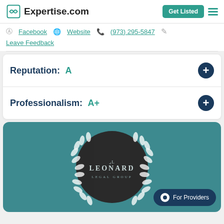Expertise.com
Facebook  Website  (973) 295-5847
Leave Feedback
Reputation: A
Professionalism: A+
[Figure (logo): Leonard Legal Group logo inside a dark circle with white laurel wreath on teal background]